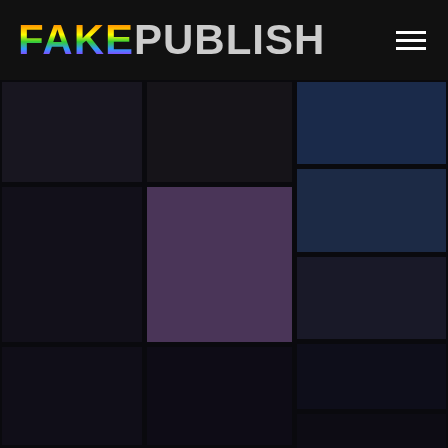FAKEPUBLISH
[Figure (screenshot): Grid of dark colored rectangular blocks in a 3-column layout with varying dark purple, navy, and near-black hues below the header navigation bar]